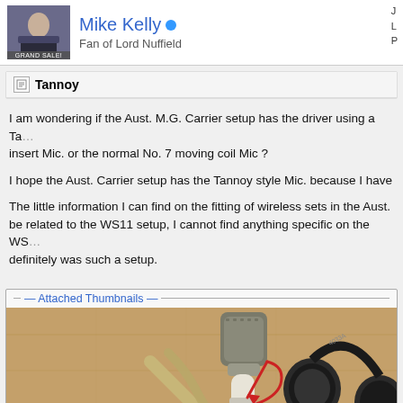Mike Kelly - Fan of Lord Nuffield
Tannoy
I am wondering if the Aust. M.G. Carrier setup has the driver using a Tannoy style insert Mic. or the normal No. 7 moving coil Mic ?
I hope the Aust. Carrier setup has the Tannoy style Mic. because I have
The little information I can find on the fitting of wireless sets in the Aust. be related to the WS11 setup, I cannot find anything specific on the WS definitely was such a setup.
Attached Thumbnails
[Figure (photo): Photo of military communication equipment laid out on a wooden floor: a microphone/tannoy insert with strap, headphones with ear cushions, cables and wiring, with a red arrow annotation pointing to the microphone handle.]